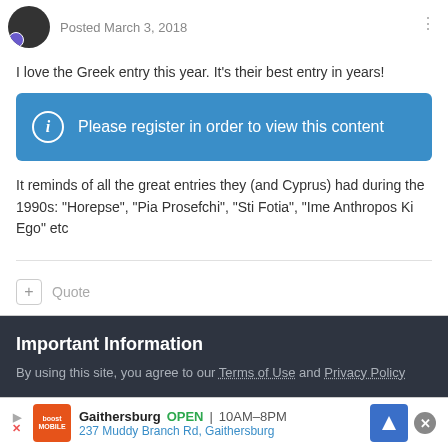Posted March 3, 2018
I love the Greek entry this year. It's their best entry in years!
Please register in order to view this content
It reminds of all the great entries they (and Cyprus) had during the 1990s: "Horepse", "Pia Prosefchi", "Sti Fotia", "Ime Anthropos Ki Ego" etc
Quote
Important Information
By using this site, you agree to our Terms of Use and Privacy Policy
Gaithersburg OPEN 10AM-8PM 237 Muddy Branch Rd, Gaithersburg